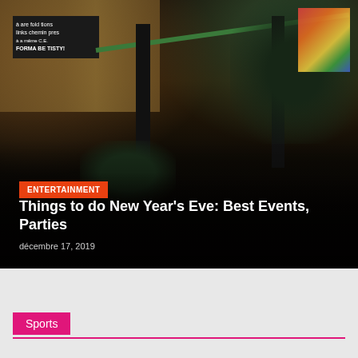[Figure (photo): Night scene of a building entrance or restaurant exterior with dark metal railings, a green handrail, bushes, a chalkboard sign on the left, and a colorful poster visible on the right. The scene is dark with warm lighting.]
ENTERTAINMENT
Things to do New Year’s Eve: Best Events, Parties
décembre 17, 2019
Sports